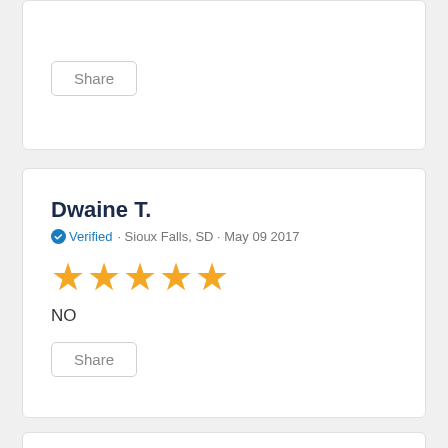Share
Dwaine T.
Verified · Sioux Falls, SD · May 09 2017
[Figure (other): 5 orange stars rating]
NO
Share
Garrett G.
Verified · Sioux Falls, SD · Nov 30 2016
[Figure (other): 5 orange stars rating]